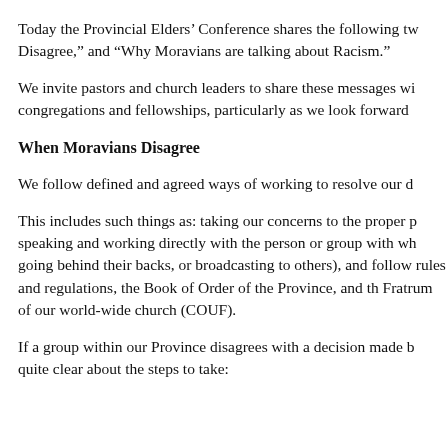Today the Provincial Elders' Conference shares the following tw Disagree,” and “Why Moravians are talking about Racism.”
We invite pastors and church leaders to share these messages wi congregations and fellowships, particularly as we look forward
When Moravians Disagree
We follow defined and agreed ways of working to resolve our d
This includes such things as: taking our concerns to the proper p speaking and working directly with the person or group with wh going behind their backs, or broadcasting to others), and follow rules and regulations, the Book of Order of the Province, and th Fratrum of our world-wide church (COUF).
If a group within our Province disagrees with a decision made b quite clear about the steps to take: